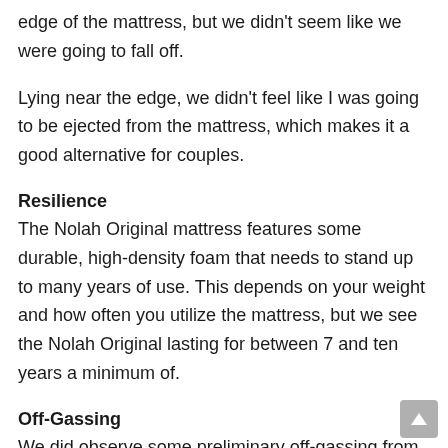edge of the mattress, but we didn't seem like we were going to fall off.
Lying near the edge, we didn't feel like I was going to be ejected from the mattress, which makes it a good alternative for couples.
Resilience
The Nolah Original mattress features some durable, high-density foam that needs to stand up to many years of use. This depends on your weight and how often you utilize the mattress, but we see the Nolah Original lasting for between 7 and ten years a minimum of.
Off-Gassing
We did observe some preliminary off-gassing from the No